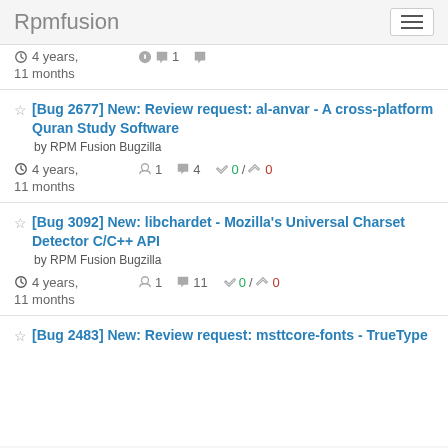Rpmfusion
4 years, 11 months  1  4  0 / 0
[Bug 2677] New: Review request: al-anvar - A cross-platform Quran Study Software
by RPM Fusion Bugzilla
4 years, 11 months  1  4  0 / 0
[Bug 3092] New: libchardet - Mozilla's Universal Charset Detector C/C++ API
by RPM Fusion Bugzilla
4 years, 11 months  1  11  0 / 0
[Bug 2483] New: Review request: msttcore-fonts - TrueType